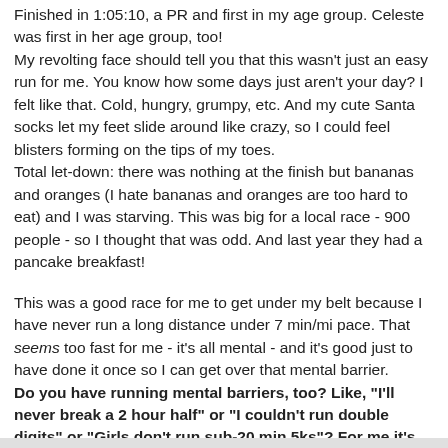Finished in 1:05:10, a PR and first in my age group. Celeste was first in her age group, too! My revolting face should tell you that this wasn't just an easy run for me. You know how some days just aren't your day? I felt like that. Cold, hungry, grumpy, etc. And my cute Santa socks let my feet slide around like crazy, so I could feel blisters forming on the tips of my toes. Total let-down: there was nothing at the finish but bananas and oranges (I hate bananas and oranges are too hard to eat) and I was starving. This was big for a local race - 900 people - so I thought that was odd. And last year they had a pancake breakfast!
This was a good race for me to get under my belt because I have never run a long distance under 7 min/mi pace. That seems too fast for me - it's all mental - and it's good just to have done it once so I can get over that mental barrier. Do you have running mental barriers, too? Like, "I'll never break a 2 hour half" or "I couldn't run double digits" or "Girls don't run sub-20 min 5ks"? For me it's seeing a pace under 7 - scares me! What's yours?